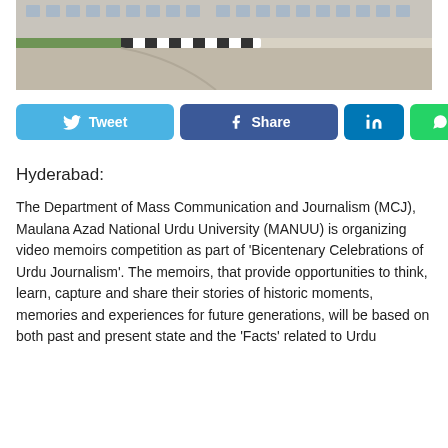[Figure (photo): Exterior photo of a university campus showing a road/driveway with black and white curb markings, green landscaping on the left, and buildings in the background.]
Tweet  Share  [LinkedIn icon]  [WhatsApp icon]
Hyderabad:
The Department of Mass Communication and Journalism (MCJ), Maulana Azad National Urdu University (MANUU) is organizing video memoirs competition as part of 'Bicentenary Celebrations of Urdu Journalism'. The memoirs, that provide opportunities to think, learn, capture and share their stories of historic moments, memories and experiences for future generations, will be based on both past and present state and the 'Facts' related to Urdu